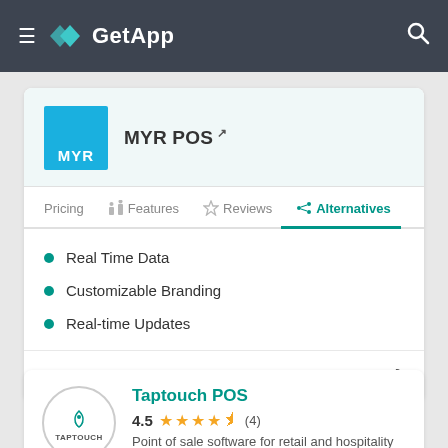GetApp
MYR POS
Pricing
Features
Reviews
Alternatives
Real Time Data
Customizable Branding
Real-time Updates
Categories in common
Taptouch POS
4.5  (4)
Point of sale software for retail and hospitality